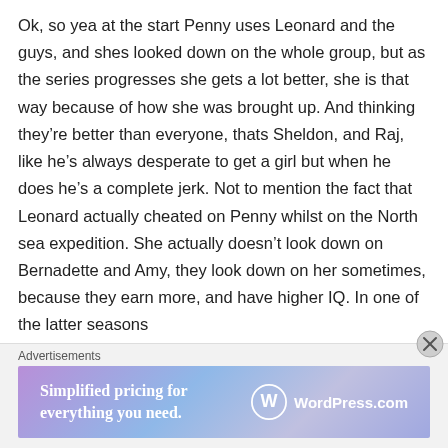Ok, so yea at the start Penny uses Leonard and the guys, and shes looked down on the whole group, but as the series progresses she gets a lot better, she is that way because of how she was brought up. And thinking they're better than everyone, thats Sheldon, and Raj, like he's always desperate to get a girl but when he does he's a complete jerk. Not to mention the fact that Leonard actually cheated on Penny whilst on the North sea expedition. She actually doesn't look down on Bernadette and Amy, they look down on her sometimes, because they earn more, and have higher IQ. In one of the latter seasons
Advertisements
[Figure (illustration): WordPress.com advertisement banner with purple-blue gradient background. Text reads 'Simplified pricing for everything you need.' with WordPress.com logo on the right.]